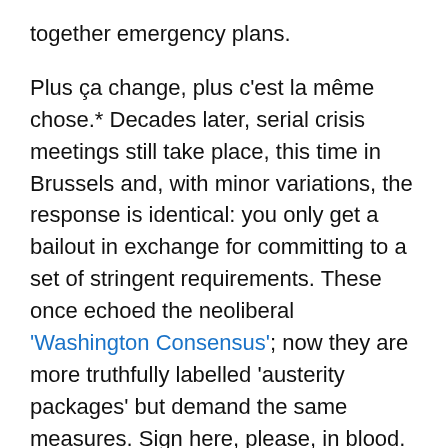together emergency plans.
Plus ça change, plus c'est la même chose.* Decades later, serial crisis meetings still take place, this time in Brussels and, with minor variations, the response is identical: you only get a bailout in exchange for committing to a set of stringent requirements. These once echoed the neoliberal 'Washington Consensus'; now they are more truthfully labelled 'austerity packages' but demand the same measures. Sign here, please, in blood.
For the South, the contracts said: 'Cut back food production and grow cash-earning crops. Privatize your State enterprises and open up profit-making activities to foreign transnational corporations, especially in raw materials and extractive industries, forestry and fisheries. Drastically limit credit, cancel subsidies and social